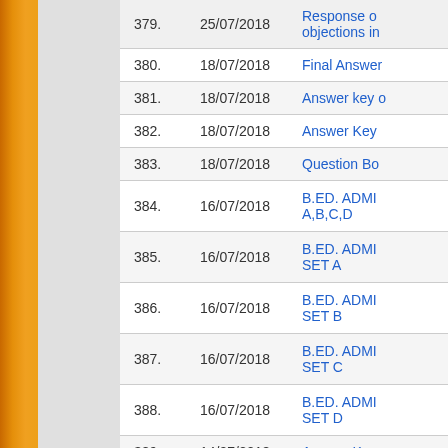| # | Date | Title |
| --- | --- | --- |
| 379. | 25/07/2018 | Response objections in... |
| 380. | 18/07/2018 | Final Answer... |
| 381. | 18/07/2018 | Answer key ... |
| 382. | 18/07/2018 | Answer Key ... |
| 383. | 18/07/2018 | Question Bo... |
| 384. | 16/07/2018 | B.ED. ADMI... A,B,C,D |
| 385. | 16/07/2018 | B.ED. ADMI... SET A |
| 386. | 16/07/2018 | B.ED. ADMI... SET B |
| 387. | 16/07/2018 | B.ED. ADMI... SET C |
| 388. | 16/07/2018 | B.ED. ADMI... SET D |
| 389. | 14/07/2018 | Answer Key ... |
| 390. | 14/07/2018 | Question Bo... |
| 391. | 14/07/2018 | Question Bo... |
| 392. | 14/07/2018 | Question Bo... |